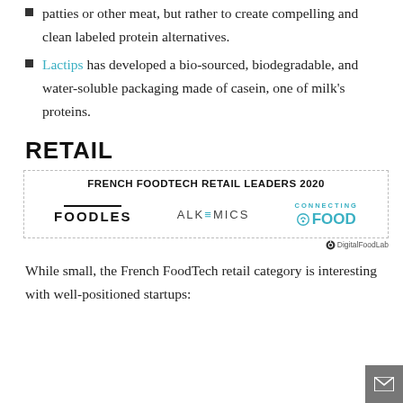patties or other meat, but rather to create compelling and clean labeled protein alternatives.
Lactips has developed a bio-sourced, biodegradable, and water-soluble packaging made of casein, one of milk's proteins.
RETAIL
[Figure (infographic): Box titled 'FRENCH FOODTECH RETAIL LEADERS 2020' containing three company logos: FOODLES, ALKEMICS, and CONNECTING FOOD. Credit: DigitalFoodLab.]
While small, the French FoodTech retail category is interesting with well-positioned startups: